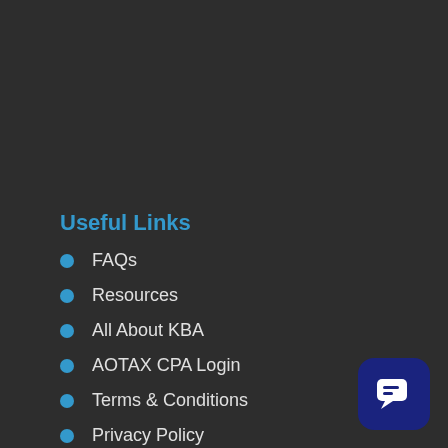Useful Links
FAQs
Resources
All About KBA
AOTAX CPA Login
Terms & Conditions
Privacy Policy
Contact Us
[Figure (illustration): Chat/messaging button icon in dark blue rounded square at bottom right]